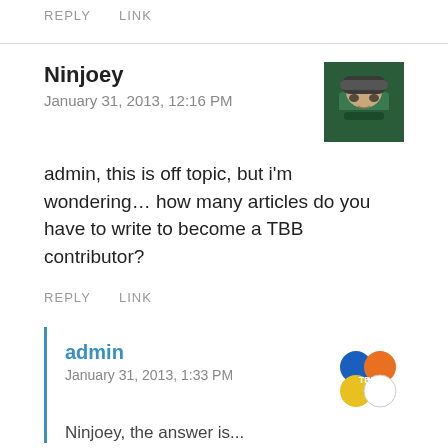REPLY   LINK
Ninjoey
January 31, 2013, 12:16 PM
admin, this is off topic, but i'm wondering… how many articles do you have to write to become a TBB contributor?
REPLY   LINK
admin
January 31, 2013, 1:33 PM
Ninjoey, the answer is...